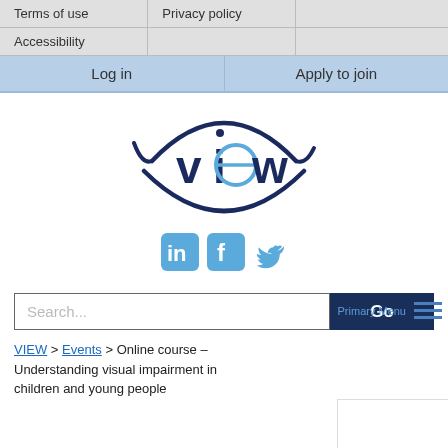Terms of use | Privacy policy | Accessibility
Log in | Apply to join
[Figure (logo): VIEW logo — stylized eye shape in dark navy blue with 'view' text inside, 'e' highlighted in light blue]
[Figure (infographic): Social media icons: LinkedIn, Facebook, Twitter in blue]
Search...
Go
VIEW > Events > Online course – Understanding visual impairment in children and young people
Primary Menu